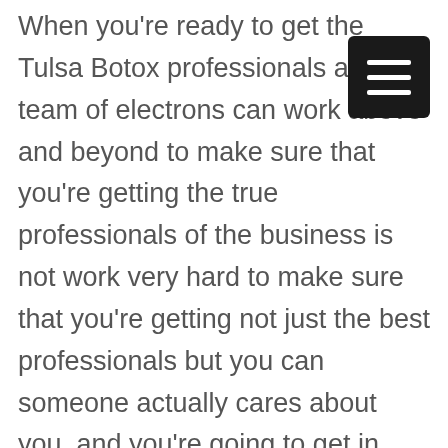When you're ready to get the Tulsa Botox professionals and team of electrons can work above and beyond to make sure that you're getting the true professionals of the business is not work very hard to make sure that you're getting not just the best professionals but you can someone actually cares about you, and you're going to get in touch with us in our team that is about to make sure that you gain the full services of a lifetime that you deserve a natural looking for as a by client. You should get our services not just because they're amazing but they're also going to be better than any other